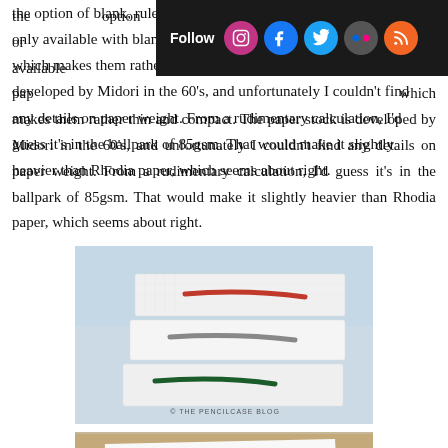Follow [social icons: Instagram, Facebook, Twitter, Flickr, RSS]
the option of blank, ruled or which makes them rather thin and compact. The paper stock is developed by Midori in the 60's, and unfortunately I couldn't find any details on paper weight. From a rudimentary calculation, I'd guess it's in the ballpark of 85gsm. That would make it slightly heavier than Rhodia paper, which seems about right.
[Figure (photo): Close-up photo of three stacked slim notebooks with coloured elastic bands — red on top, grey in middle, dark green on bottom. Watermark reads: © THE PENCILCASE BLOG]
[Figure (photo): Close-up photo of a Midori diary/notebook cover on a wooden surface showing text '1984 DIARY' with 'VOLUME' visible below]